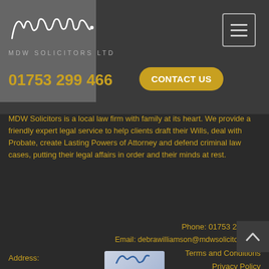[Figure (logo): MDW Solicitors Ltd logo with handwritten signature and text MDW SOLICITORS LTD]
01753 299 466
CONTACT US
MDW Solicitors is a local law firm with family at its heart. We provide a friendly expert legal service to help clients draft their Wills, deal with Probate, create Lasting Powers of Attorney and defend criminal law cases, putting their legal affairs in order and their minds at rest.
Phone: 01753 299 466
Email: debrawilliamson@mdwsolicitors.com
Terms and Conditions
Address:
1 Chalfont Park,
Gerrards Cross,
Buckinghamshire,
SL9 0BG
Privacy Policy